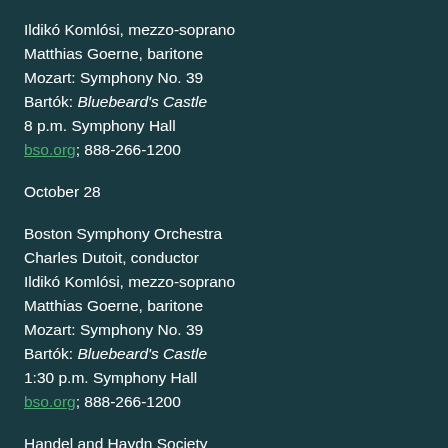Ildikó Komlósi, mezzo-soprano
Matthias Goerne, baritone
Mozart: Symphony No. 39
Bartók: Bluebeard's Castle
8 p.m. Symphony Hall
bso.org; 888-266-1200
October 28
Boston Symphony Orchestra
Charles Dutoit, conductor
Ildikó Komlósi, mezzo-soprano
Matthias Goerne, baritone
Mozart: Symphony No. 39
Bartók: Bluebeard's Castle
1:30 p.m. Symphony Hall
bso.org; 888-266-1200
Handel and Haydn Society
Richard Egarr, conductor